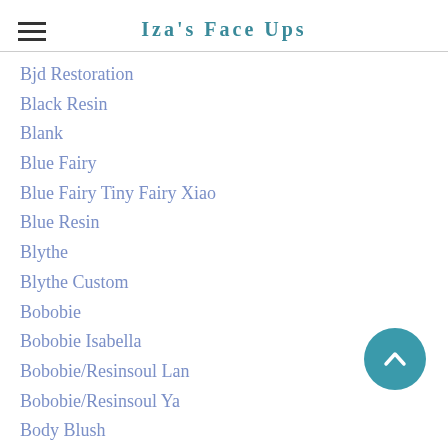Iza's Face Ups
Bjd Restoration
Black Resin
Blank
Blue Fairy
Blue Fairy Tiny Fairy Xiao
Blue Resin
Blythe
Blythe Custom
Bobobie
Bobobie Isabella
Bobobie/Resinsoul Lan
Bobobie/Resinsoul Ya
Body Blush
Body Hair
Body Tattoo
Boxes
Brownie Doll